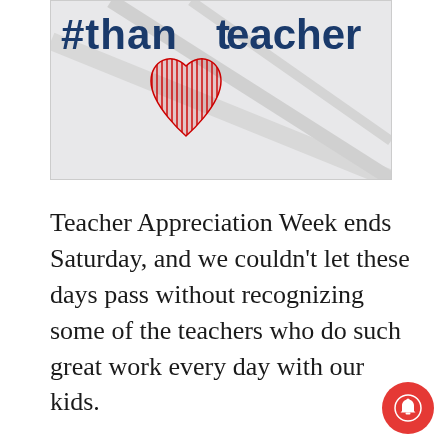[Figure (illustration): Hashtag image with a red heart shape and blue text reading #thankateacher on a light gray background]
Teacher Appreciation Week ends Saturday, and we couldn't let these days pass without recognizing some of the teachers who do such great work every day with our kids.
[Figure (other): Advertisement banner with lavender background and two horizontal dark lines]
Advertisement